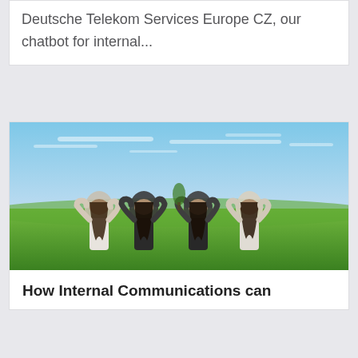Deutsche Telekom Services Europe CZ, our chatbot for internal...
[Figure (photo): Four women standing in a green field with their backs to the camera, arms around each other, each making a heart shape with their hands raised above their heads. Blue sky with light clouds in the background.]
How Internal Communications can